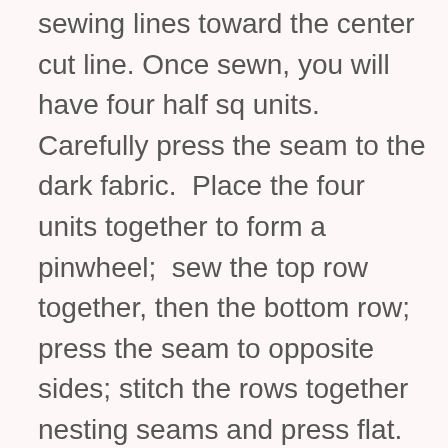sewing lines toward the center cut line. Once sewn, you will have four half sq units.  Carefully press the seam to the dark fabric.  Place the four units together to form a pinwheel;  sew the top row together, then the bottom row; press the seam to opposite sides; stitch the rows together nesting seams and press flat.